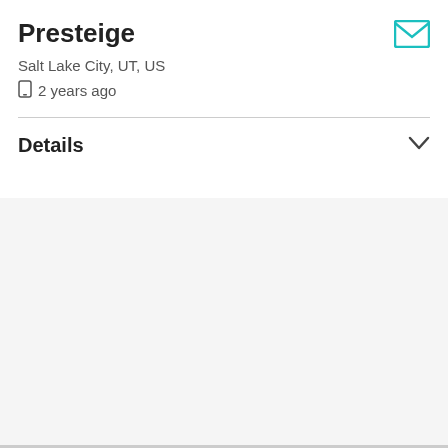Presteige
Salt Lake City, UT, US
2 years ago
Details